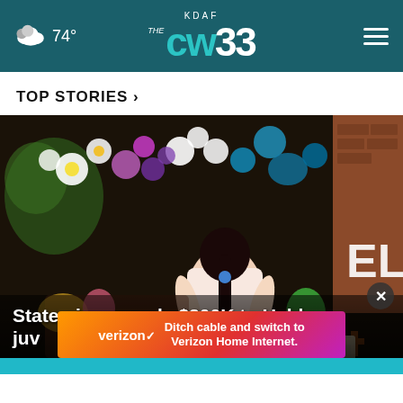KDAF CW 33 — 74°
TOP STORIES ›
[Figure (photo): A person with a braided ponytail viewed from behind, standing at a memorial covered in flowers, stuffed animals, photos, and wreaths outside a building with letters 'EL' visible. Part of a Uvalde school shooting memorial scene.]
State gives nearly $300K to Uvalde juvenile…
[Figure (screenshot): Verizon advertisement banner: 'Ditch cable and switch to Verizon Home Internet.' with Verizon logo on gradient orange-red-purple background.]
[Figure (photo): Partial view of another news story image at the bottom, showing a teal/blue strip.]